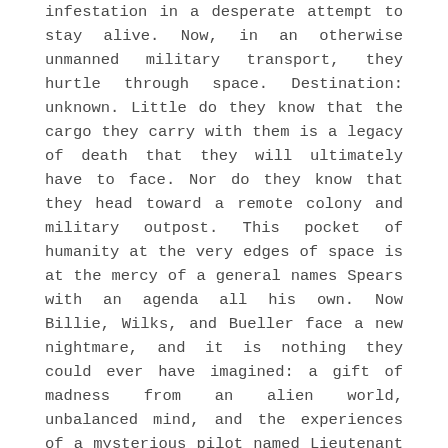infestation in a desperate attempt to stay alive. Now, in an otherwise unmanned military transport, they hurtle through space. Destination: unknown. Little do they know that the cargo they carry with them is a legacy of death that they will ultimately have to face. Nor do they know that they head toward a remote colony and military outpost. This pocket of humanity at the very edges of space is at the mercy of a general names Spears with an agenda all his own. Now Billie, Wilks, and Bueller face a new nightmare, and it is nothing they could ever have imagined: a gift of madness from an alien world, unbalanced mind, and the experiences of a mysterious pilot named Lieutenant Ellen Ripley. The Female War: Lieutenant Ellen Ripley awoke from her long journey in space with